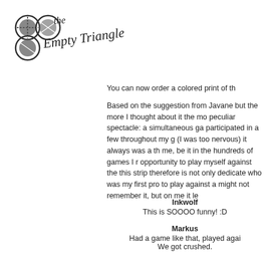[Figure (logo): The Empty Triangle logo with three overlapping circles and handwritten-style text]
You can now order a colored print of th
Based on the suggestion from Javane but the more I thought about it the mo peculiar spectacle: a simultaneous ga participated in a few throughout my g (I was too nervous) it always was a th me, be it in the hundreds of games I r opportunity to play myself against the this strip therefore is not only dedicate who was my first pro to play against a might not remember it, but on me it le
Inkwolf
This is SOOOO funny! :D
Markus
Had a game like that, played agai
We got crushed.